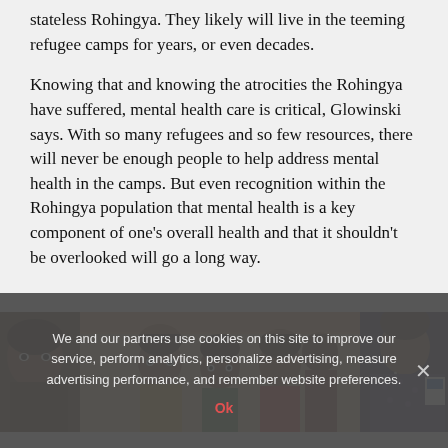stateless Rohingya. They likely will live in the teeming refugee camps for years, or even decades.
Knowing that and knowing the atrocities the Rohingya have suffered, mental health care is critical, Glowinski says. With so many refugees and so few resources, there will never be enough people to help address mental health in the camps. But even recognition within the Rohingya population that mental health is a key component of one's overall health and that it shouldn't be overlooked will go a long way.
[Figure (photo): Photograph of a group of Rohingya refugees, including children, with a person in a patterned top visible on the right side.]
We and our partners use cookies on this site to improve our service, perform analytics, personalize advertising, measure advertising performance, and remember website preferences.
Ok